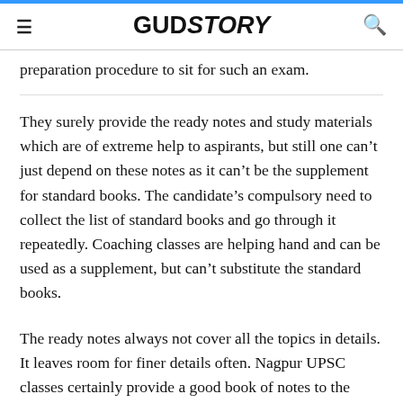GUDSTORY
preparation procedure to sit for such an exam.
They surely provide the ready notes and study materials which are of extreme help to aspirants, but still one can't just depend on these notes as it can't be the supplement for standard books. The candidate's compulsory need to collect the list of standard books and go through it repeatedly. Coaching classes are helping hand and can be used as a supplement, but can't substitute the standard books.
The ready notes always not cover all the topics in details. It leaves room for finer details often. Nagpur UPSC classes certainly provide a good book of notes to the aspirants, but here, it's better to remember